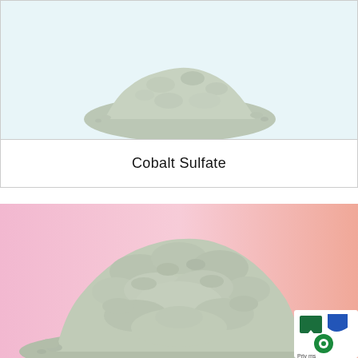[Figure (photo): Small pile of grayish-green cobalt sulfate powder on a light blue/white background, top portion of image]
Cobalt Sulfate
[Figure (photo): Large pile of grayish-green cobalt sulfate powder on a pink-to-salmon gradient background, with a website privacy/chat overlay badge in the bottom right corner]